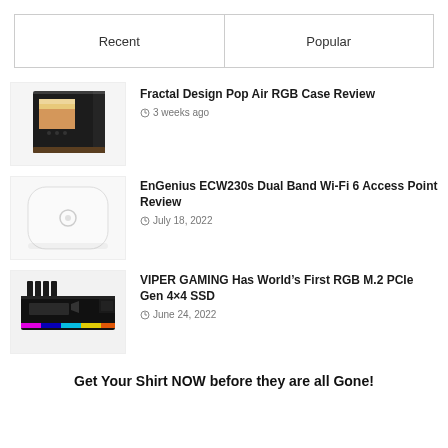| Recent | Popular |
| --- | --- |
[Figure (photo): Fractal Design Pop Air RGB PC case, black with side window showing wooden interior]
Fractal Design Pop Air RGB Case Review
3 weeks ago
[Figure (photo): EnGenius ECW230s white rounded-square Wi-Fi 6 access point device]
EnGenius ECW230s Dual Band Wi-Fi 6 Access Point Review
July 18, 2022
[Figure (photo): Viper Gaming RGB M.2 PCIe Gen 4x4 SSD with rainbow RGB lighting]
VIPER GAMING Has World’s First RGB M.2 PCIe Gen 4×4 SSD
June 24, 2022
Get Your Shirt NOW before they are all Gone!